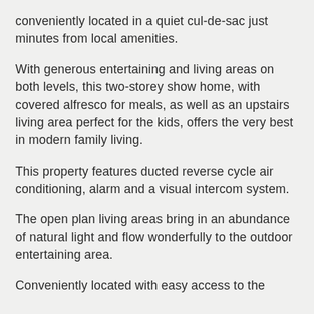conveniently located in a quiet cul-de-sac just minutes from local amenities.
With generous entertaining and living areas on both levels, this two-storey show home, with covered alfresco for meals, as well as an upstairs living area perfect for the kids, offers the very best in modern family living.
This property features ducted reverse cycle air conditioning, alarm and a visual intercom system.
The open plan living areas bring in an abundance of natural light and flow wonderfully to the outdoor entertaining area.
Conveniently located with easy access to the